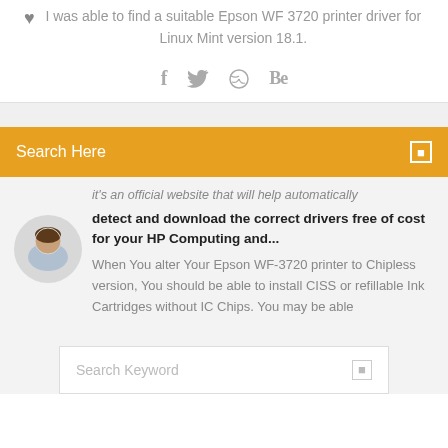I was able to find a suitable Epson WF 3720 printer driver for Linux Mint version 18.1.
[Figure (infographic): Social media sharing icons: Facebook (f), Twitter bird, Dribbble (circle with lines), Behance (Be)]
Search Here
...it's an official website that will help automatically detect and download the correct drivers free of cost for your HP Computing and...
[Figure (photo): Circular avatar photo of a young man with short dark hair]
When You alter Your Epson WF-3720 printer to Chipless version, You should be able to install CISS or refillable Ink Cartridges without IC Chips. You may be able
Search Keyword